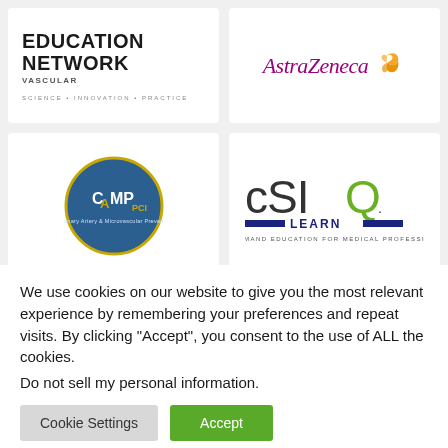[Figure (logo): Education Network Vascular logo with text EDUCATION NETWORK VASCULAR and tagline SCIENCE • INNOVATION • PRACTICE]
[Figure (logo): AstraZeneca logo with purple text and orange butterfly symbol]
[Figure (logo): CAMP PCI circular logo with blue background and yellow text]
[Figure (logo): CSIQ Learn logo with dark text and green Q, subtitle ON-DEMAND EDUCATION FOR MEDICAL PROFESSIONALS]
We use cookies on our website to give you the most relevant experience by remembering your preferences and repeat visits. By clicking “Accept”, you consent to the use of ALL the cookies.
Do not sell my personal information.
Cookie Settings
Accept